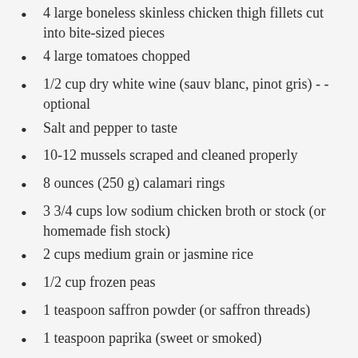4 large boneless skinless chicken thigh fillets cut into bite-sized pieces
4 large tomatoes chopped
1/2 cup dry white wine (sauv blanc, pinot gris) - - optional
Salt and pepper to taste
10-12 mussels scraped and cleaned properly
8 ounces (250 g) calamari rings
3 3/4 cups low sodium chicken broth or stock (or homemade fish stock)
2 cups medium grain or jasmine rice
1/2 cup frozen peas
1 teaspoon saffron powder (or saffron threads)
1 teaspoon paprika (sweet or smoked)
1/2 teaspoon each garlic and onion powders
21 ounces (600 g) shrimp
2 tablespoons fresh flat leaf chopped parsley
Fire roasted bell peppers (capsicum) strips